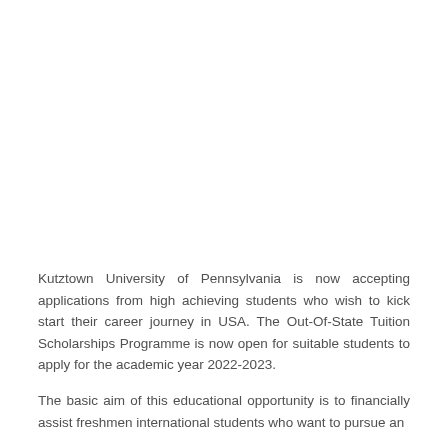Kutztown University of Pennsylvania is now accepting applications from high achieving students who wish to kick start their career journey in USA. The Out-Of-State Tuition Scholarships Programme is now open for suitable students to apply for the academic year 2022-2023.
The basic aim of this educational opportunity is to financially assist freshmen international students who want to pursue an